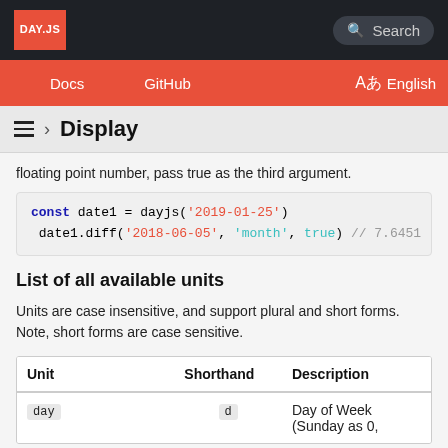DAY.JS | Search
Docs | GitHub | Aあ English
≡ › Display
floating point number, pass true as the third argument.
[Figure (screenshot): Code block showing: const date1 = dayjs('2019-01-25') / date1.diff('2018-06-05', 'month', true) // 7.6451]
List of all available units
Units are case insensitive, and support plural and short forms. Note, short forms are case sensitive.
| Unit | Shorthand | Description |
| --- | --- | --- |
| day | d | Day of Week (Sunday as 0, |